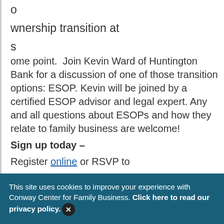o
wnership transition at
s
ome point.  Join Kevin Ward of Huntington Bank for a discussion of one of those transition options: ESOP. Kevin will be joined by a certified ESOP advisor and legal expert. Any and all questions about ESOPs and how they relate to family business are welcome!
Sign up today –
Register online or RSVP to
Amy Dotts
This site uses cookies to improve your experience with Conway Center for Family Business. Click here to read our privacy policy.